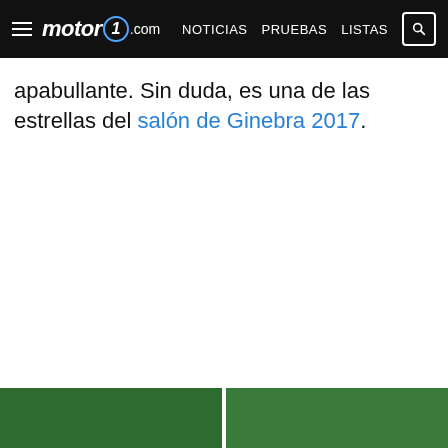motor1.com — NOTICIAS  PRUEBAS  LISTAS
apabullante. Sin duda, es una de las estrellas del salón de Ginebra 2017.
[Figure (photo): Two green outdoor photos visible at the bottom of the page, side by side]